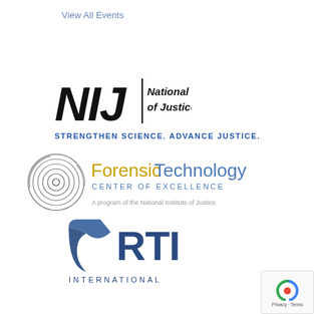View All Events
[Figure (logo): NIJ National Institute of Justice logo with bold italic NIJ letters, vertical divider, and text 'National Institute of Justice']
STRENGTHEN SCIENCE. ADVANCE JUSTICE.
[Figure (logo): Forensic Technology Center of Excellence logo with circular concentric rings graphic and two-color text]
A program of the National Institute of Justice
[Figure (logo): RTI International logo with blue shield/swoosh graphic and RTI INTERNATIONAL text]
[Figure (other): reCAPTCHA badge with Privacy and Terms text]